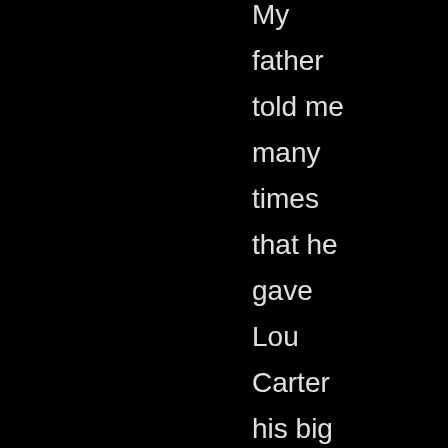My father told me many times that he gave Lou Carter his big break in the business by getting him an audition, I'm not sure with whom, but I'm pretty